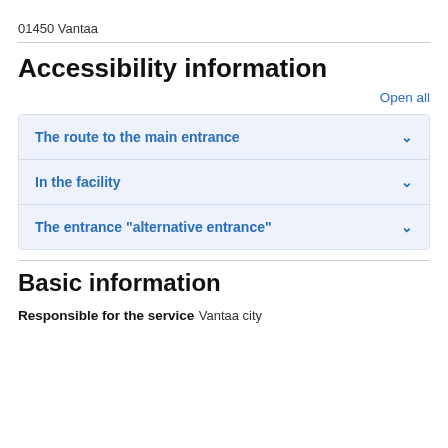01450 Vantaa
Accessibility information
Open all
The route to the main entrance
In the facility
The entrance "alternative entrance"
Basic information
Responsible for the service
Vantaa city